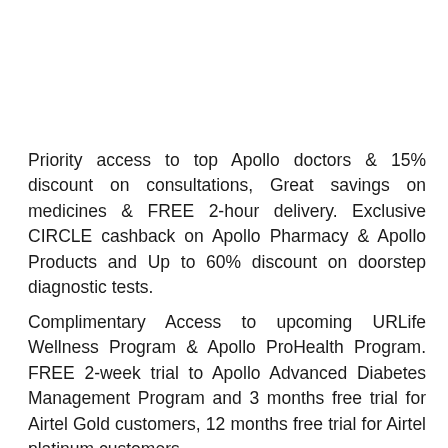Priority access to top Apollo doctors & 15% discount on consultations, Great savings on medicines & FREE 2-hour delivery. Exclusive CIRCLE cashback on Apollo Pharmacy & Apollo Products and Up to 60% discount on doorstep diagnostic tests.
Complimentary Access to upcoming URLife Wellness Program & Apollo ProHealth Program. FREE 2-week trial to Apollo Advanced Diabetes Management Program and 3 months free trial for Airtel Gold customers, 12 months free trial for Airtel platinum customers.